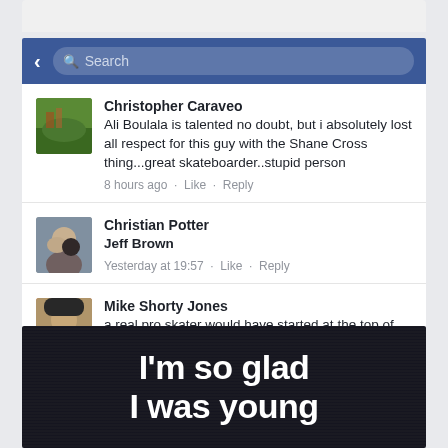[Figure (screenshot): Top portion of a mobile Facebook comments section with blue search/navigation bar]
Christopher Caraveo
Ali Boulala is talented no doubt, but i absolutely lost all respect for this guy with the Shane Cross thing...great skateboarder..stupid person
8 hours ago · Like · Reply
Christian Potter
Jeff Brown
Yesterday at 19:57 · Like · Reply
Mike Shorty Jones
a real pro skater would have started at the top of the set. #douchbag
Yesterday at 19:38 · Like · Reply
[Figure (photo): Dark background image with large white bold text reading "I'm so glad I was young"]